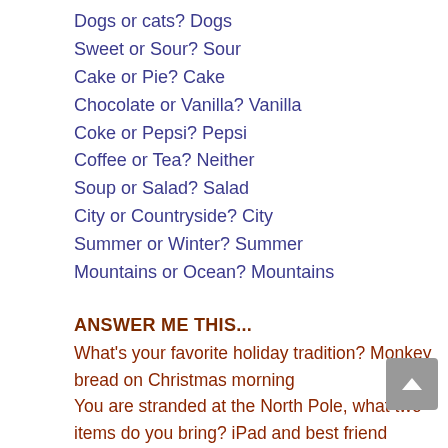Dogs or cats? Dogs
Sweet or Sour? Sour
Cake or Pie? Cake
Chocolate or Vanilla? Vanilla
Coke or Pepsi? Pepsi
Coffee or Tea? Neither
Soup or Salad? Salad
City or Countryside? City
Summer or Winter? Summer
Mountains or Ocean? Mountains
ANSWER ME THIS...
What's your favorite holiday tradition?  Monkey bread on Christmas morning
You are stranded at the North Pole, what two items do you bring? iPad and best friend
Dream role to perform? Jack in Newsies
Who is your hero? My mom
What's your biggest fear? Squirrels